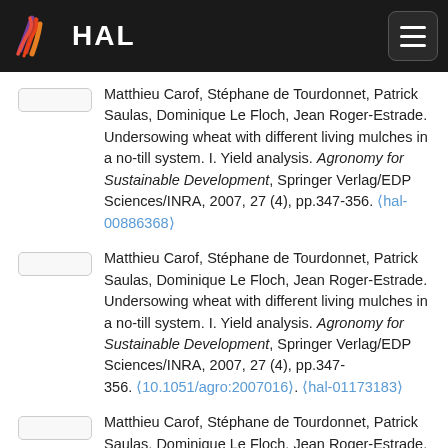HAL
Matthieu Carof, Stéphane de Tourdonnet, Patrick Saulas, Dominique Le Floch, Jean Roger-Estrade. Undersowing wheat with different living mulches in a no-till system. I. Yield analysis. Agronomy for Sustainable Development, Springer Verlag/EDP Sciences/INRA, 2007, 27 (4), pp.347-356. (hal-00886368)
Matthieu Carof, Stéphane de Tourdonnet, Patrick Saulas, Dominique Le Floch, Jean Roger-Estrade. Undersowing wheat with different living mulches in a no-till system. I. Yield analysis. Agronomy for Sustainable Development, Springer Verlag/EDP Sciences/INRA, 2007, 27 (4), pp.347-356. (10.1051/agro:2007016). (hal-01173183)
Matthieu Carof, Stéphane de Tourdonnet, Patrick Saulas, Dominique Le Floch, Jean Roger-Estrade. Undersowing wheat with different living mulches in a no-till system. I. Yield analysis.